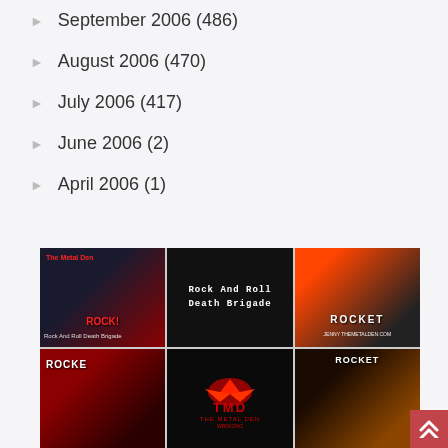September 2006 (486)
August 2006 (470)
July 2006 (417)
June 2006 (2)
April 2006 (1)
[Figure (photo): A 2x3 grid of music-related images including Rock And Roll Death Brigade cover art, Rocket band images, and TMD The Metal Den logo]
Back to top arrow